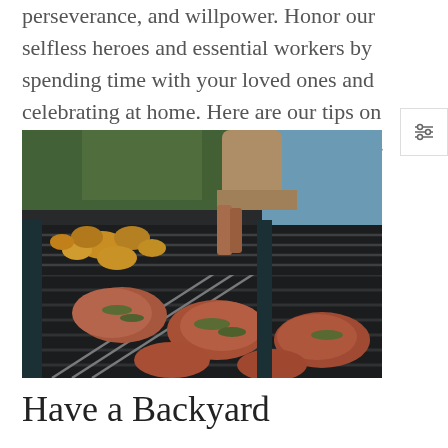perseverance, and willpower. Honor our selfless heroes and essential workers by spending time with your loved ones and celebrating at home. Here are our tips on respectfully enjoying this Memorial Day.
[Figure (photo): A person grilling food outdoors on a barbecue grill — skewers with orange bell peppers and meat with herbs visible on the grill grates, with green foliage in the background.]
Have a Backyard